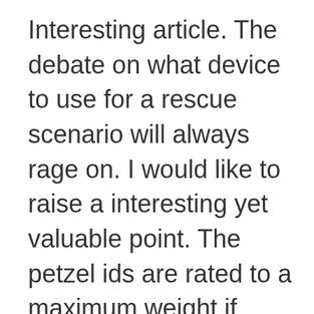Interesting article. The debate on what device to use for a rescue scenario will always rage on. I would like to raise a interesting yet valuable point. The petzel ids are rated to a maximum weight if 159kg. Now you are able to increase this with a carabiner configuration however i believe the max is 200kg. Now if we think